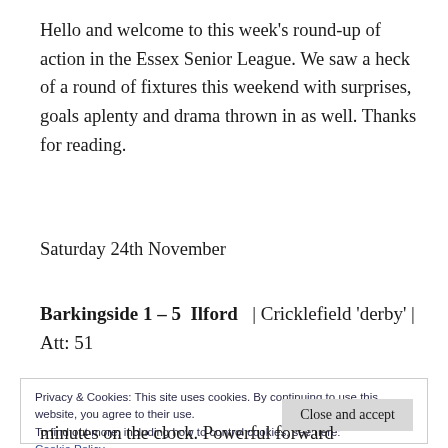Hello and welcome to this week's round-up of action in the Essex Senior League. We saw a heck of a round of fixtures this weekend with surprises, goals aplenty and drama thrown in as well. Thanks for reading.
Saturday 24th November
Barkingside 1 – 5 Ilford | Cricklefield 'derby' | Att: 51
Privacy & Cookies: This site uses cookies. By continuing to use this website, you agree to their use.
To find out more, including how to control cookies, see here:
Cookie Policy
minutes on the clock. Powerful forward